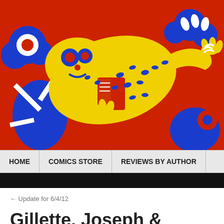[Figure (illustration): Colorful comic-style illustration of a yellow spotted creature/dragon reading a book, set against a red background with blue decorative elements]
HOME | COMICS STORE | REVIEWS BY AUTHOR
← Update for 6/4/12
Gillette, Joseph & Schuster, Prizon Food #1
JUN 5  Posted by admin